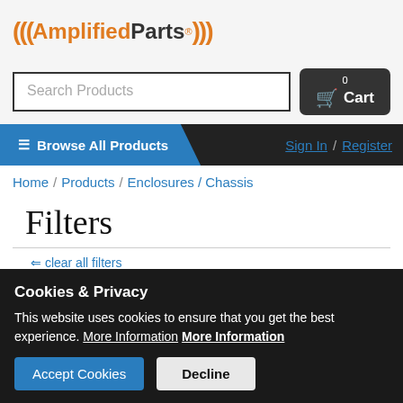[Figure (logo): AmplifiedParts logo with orange wave brackets, orange 'Amplified' text, dark 'Parts' text, registered trademark symbol]
[Figure (screenshot): Search Products input box and Cart button]
Browse All Products
Sign In / Register
Home / Products / Enclosures / Chassis
Filters
⇐ clear all filters
Brand ▼
Cookies & Privacy
This website uses cookies to ensure that you get the best experience. More Information More Information
Accept Cookies  Decline